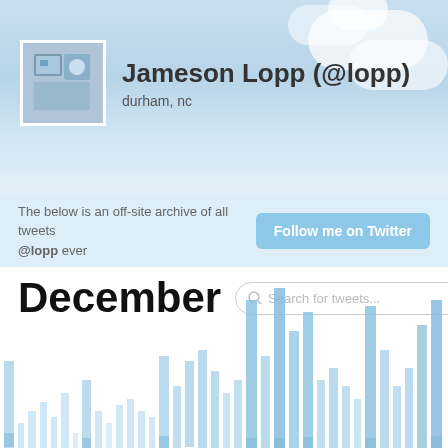[Figure (screenshot): Twitter profile header with sky/clouds background showing Jameson Lopp (@lopp) profile, durham nc location, avatar image]
The below is an off-site archive of all tweets @lopp ever
[Figure (other): Follow me on Twitter button]
December
[Figure (other): Search for tweets... search box]
[Figure (bar-chart): Bar chart showing tweet activity over December days, bars in light blue, varying heights with tall peaks toward end of month]